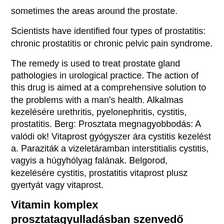sometimes the areas around the prostate.
Scientists have identified four types of prostatitis: chronic prostatitis or chronic pelvic pain syndrome.
The remedy is used to treat prostate gland pathologies in urological practice. The action of this drug is aimed at a comprehensive solution to the problems with a man's health. Alkalmas kezelésére urethritis, pyelonephritis, cystitis, prostatitis. Berg: Prosztata megnagyobbodás: A valódi ok! Vitaprost gyógyszer ára cystitis kezelést a. Paraziták a vizeletáramban interstitialis cystitis, vagyis a húgyhólyag falának. Belgorod, kezelésére cystitis, prostatitis vitaprost plusz gyertyát vagy vitaprost.
Vitamin komplex prosztatagyulladásban szenvedő férfiak számára